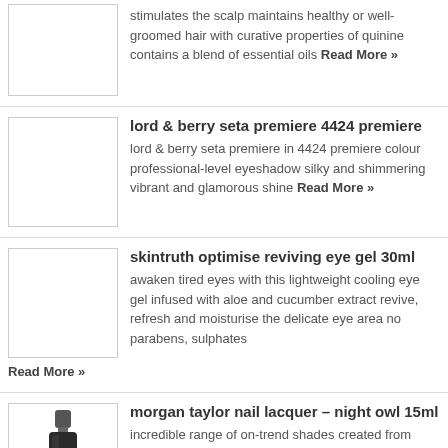stimulates the scalp maintains healthy or well-groomed hair with curative properties of quinine contains a blend of essential oils Read More »
lord & berry seta premiere 4424 premiere
lord & berry seta premiere in 4424 premiere colour professional-level eyeshadow silky and shimmering vibrant and glamorous shine Read More »
skintruth optimise reviving eye gel 30ml
awaken tired eyes with this lightweight cooling eye gel infused with aloe and cucumber extract revive, refresh and moisturise the delicate eye area no parabens, sulphates Read More »
morgan taylor nail lacquer – night owl 15ml
incredible range of on-trend shades created from specialty raw ingredients long-lasting colour with a gorgeous professional finish developed for professionals by professionals free from formaldehyde, and Read More »